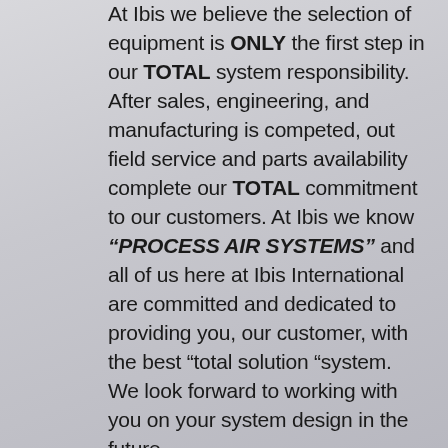At Ibis we believe the selection of equipment is ONLY the first step in our TOTAL system responsibility. After sales, engineering, and manufacturing is competed, out field service and parts availability complete our TOTAL commitment to our customers. At Ibis we know "PROCESS AIR SYSTEMS" and all of us here at Ibis International are committed and dedicated to providing you, our customer, with the best "total solution "system. We look forward to working with you on your system design in the future.